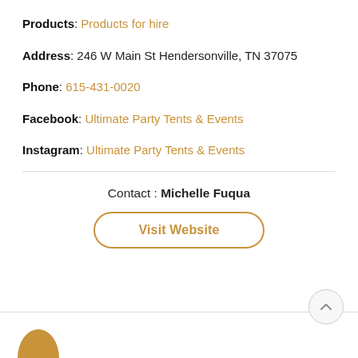Products: Products for hire
Address: 246 W Main St Hendersonville, TN 37075
Phone: 615-431-0020
Facebook: Ultimate Party Tents & Events
Instagram: Ultimate Party Tents & Events
Contact : Michelle Fuqua
Visit Website